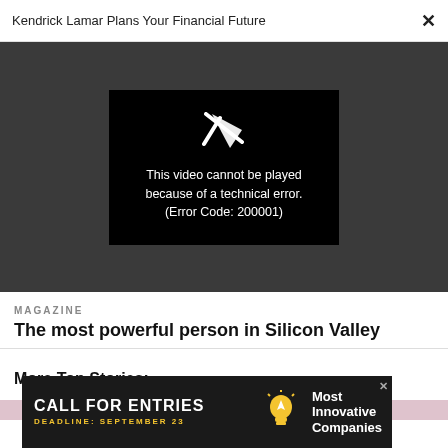Kendrick Lamar Plans Your Financial Future  ✕
[Figure (screenshot): Video player showing error message: This video cannot be played because of a technical error. (Error Code: 200001)]
MAGAZINE
The most powerful person in Silicon Valley
More Top Stories:
[Figure (infographic): Advertisement banner: CALL FOR ENTRIES, DEADLINE: SEPTEMBER 23, Most Innovative Companies]